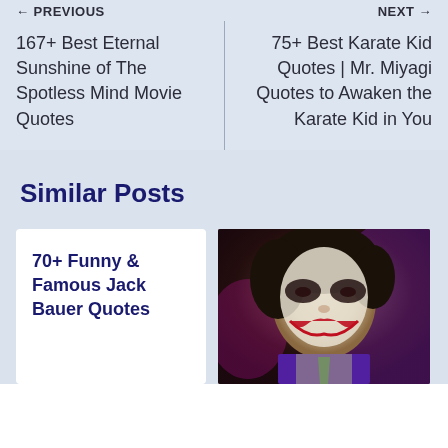← PREVIOUS
NEXT →
167+ Best Eternal Sunshine of The Spotless Mind Movie Quotes
75+ Best Karate Kid Quotes | Mr. Miyagi Quotes to Awaken the Karate Kid in You
Similar Posts
70+ Funny & Famous Jack Bauer Quotes
[Figure (photo): Photo of a man dressed as the Joker character wearing a purple suit with green tie and face paint with a smile]